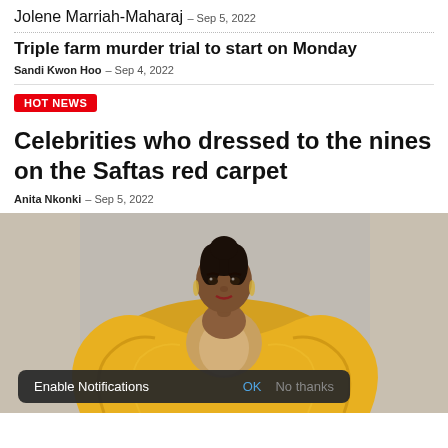Jolene Marriah-Maharaj - Sep 5, 2022
Triple farm murder trial to start on Monday
Sandi Kwon Hoo - Sep 4, 2022
HOT NEWS
Celebrities who dressed to the nines on the Saftas red carpet
Anita Nkonki - Sep 5, 2022
[Figure (photo): Woman dressed in a gold/yellow outfit on the Saftas red carpet, with a notification bar overlay reading 'Enable Notifications OK No thanks']